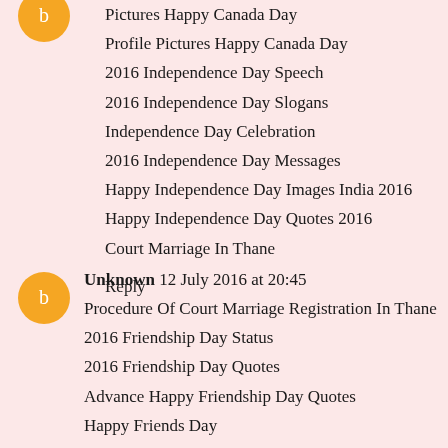Pictures Happy Canada Day
Profile Pictures Happy Canada Day
2016 Independence Day Speech
2016 Independence Day Slogans
Independence Day Celebration
2016 Independence Day Messages
Happy Independence Day Images India 2016
Happy Independence Day Quotes 2016
Court Marriage In Thane
Reply
Unknown  12 July 2016 at 20:45
Procedure Of Court Marriage Registration In Thane
2016 Friendship Day Status
2016 Friendship Day Quotes
Advance Happy Friendship Day Quotes
Happy Friends Day
Happy Friendship Day Quotes 2016
Reply